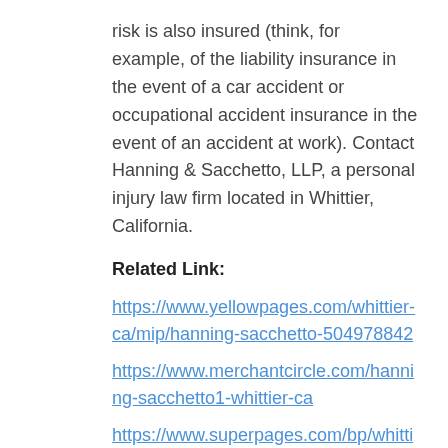risk is also insured (think, for example, of the liability insurance in the event of a car accident or occupational accident insurance in the event of an accident at work). Contact Hanning & Sacchetto, LLP, a personal injury law firm located in Whittier, California.
Related Link:
https://www.yellowpages.com/whittier-ca/mip/hanning-sacchetto-504978842
https://www.merchantcircle.com/hanning-sacchetto1-whittier-ca
https://www.superpages.com/bp/whittier-ca/hanning-sacchetto-L2563433709.htm
http://www.citysearch.com/profile/627599804/whittier_c
http://business.worldweb.com/1-503922-